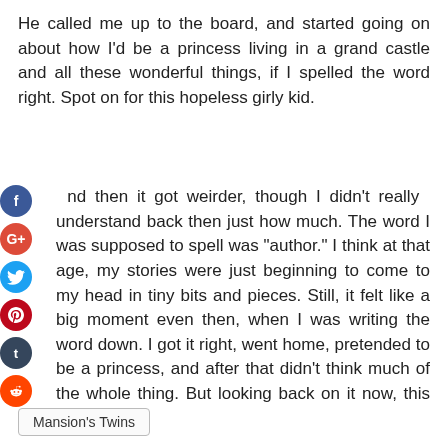He called me up to the board, and started going on about how I'd be a princess living in a grand castle and all these wonderful things, if I spelled the word right. Spot on for this hopeless girly kid.
And then it got weirder, though I didn't really understand back then just how much. The word I was supposed to spell was "author." I think at that age, my stories were just beginning to come to my head in tiny bits and pieces. Still, it felt like a big moment even then, when I was writing the word down. I got it right, went home, pretended to be a princess, and after that didn't think much of the whole thing. But looking back on it now, this was huge.
Mansion's Twins